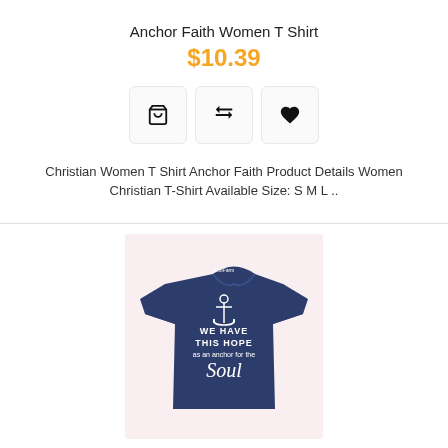Anchor Faith Women T Shirt
$10.39
[Figure (other): Three action buttons: shopping cart, compare arrows, and heart/wishlist icons in square bordered buttons]
Christian Women T Shirt Anchor Faith Product Details Women Christian T-Shirt Available Size: S M L ..
[Figure (photo): Navy blue women's t-shirt on a light pink background with an anchor graphic and text reading WE HAVE THIS HOPE as an anchor for the Soul]